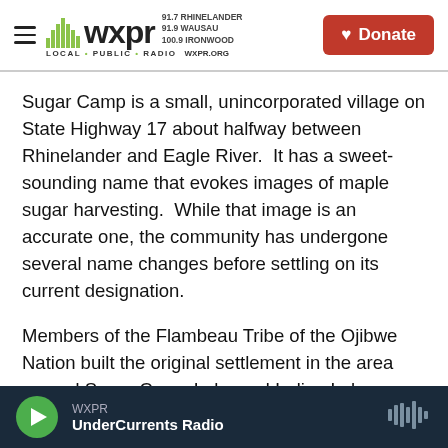WXPR LOCAL · PUBLIC · RADIO — 91.7 RHINELANDER 91.9 WAUSAU 100.9 IRONWOOD WXPR.ORG | Donate
Sugar Camp is a small, unincorporated village on State Highway 17 about halfway between Rhinelander and Eagle River.  It has a sweet-sounding name that evokes images of maple sugar harvesting.  While that image is an accurate one, the community has undergone several name changes before settling on its current designation.
Members of the Flambeau Tribe of the Ojibwe Nation built the original settlement in the area around Sugar Camp Lake and Indian Lake.  Members of the tribe hunted, fished, and gathered
WXPR — UnderCurrents Radio